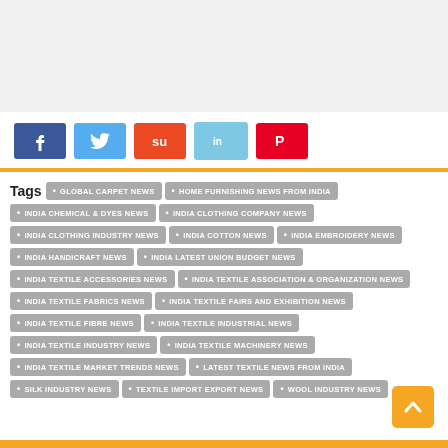[Figure (other): Gray placeholder banner at top of page]
Social share buttons: Facebook, Twitter, StumbleUpon, LinkedIn, Pinterest
Tags  GLOBAL CARPET NEWS  HOME FURNISHING NEWS FROM INDIA  INDIA CHEMICAL & DYES NEWS  INDIA CLOTHING COMPANY NEWS  INDIA CLOTHING INDUSTRY NEWS  INDIA COTTON NEWS  INDIA EMBROIDERY NEWS  INDIA HANDICRAFT NEWS  INDIA LATEST UNION BUDGET NEWS  INDIA TEXTILE ACCESSORIES NEWS  INDIA TEXTILE ASSOCIATION & ORGANIZATION NEWS  INDIA TEXTILE FABRICS NEWS  INDIA TEXTILE FAIRS AND EXHIBITION NEWS  INDIA TEXTILE FIBRE NEWS  INDIA TEXTILE INDUSTRIAL NEWS  INDIA TEXTILE INDUSTRY NEWS  INDIA TEXTILE MACHINERY NEWS  INDIA TEXTILE MARKET TRENDS NEWS  LATEST TEXTILE NEWS FROM INDIA  SILK INDUSTRY NEWS  TEXTILE IMPORT EXPORT NEWS  WOOL INDUSTRY NEWS